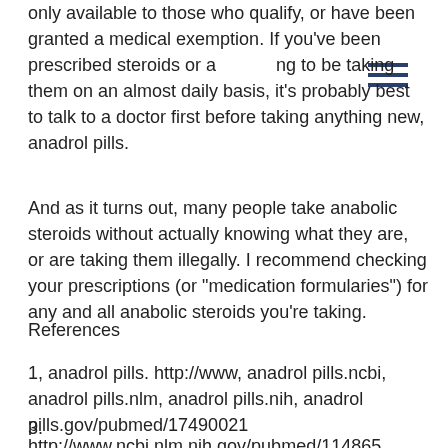only available to those who qualify, or have been granted a medical exemption. If you've been prescribed steroids or are going to be taking them on an almost daily basis, it's probably best to talk to a doctor first before taking anything new, anadrol pills.
And as it turns out, many people take anabolic steroids without actually knowing what they are, or are taking them illegally. I recommend checking your prescriptions (or "medication formularies") for any and all anabolic steroids you're taking.
References
1, anadrol pills. http://www, anadrol pills.ncbi, anadrol pills.nlm, anadrol pills.nih, anadrol pills.gov/pubmed/17490021
3.
http://www.ncbi.nlm.nih.gov/pubmed/114865